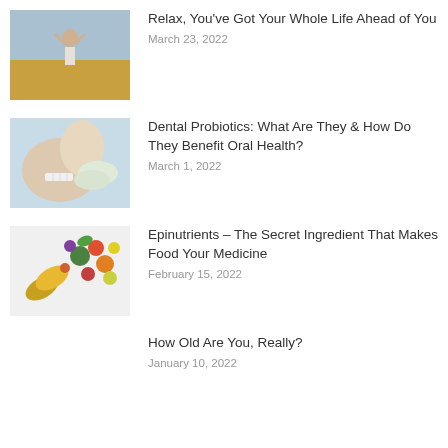[Figure (photo): Woman with arms outstretched in a field, relaxed pose outdoors]
Relax, You've Got Your Whole Life Ahead of You
March 23, 2022
[Figure (photo): Close-up of dental procedure, person at dentist]
Dental Probiotics: What Are They & How Do They Benefit Oral Health?
March 1, 2022
[Figure (photo): Capsule pill with colorful vegetables and fruits spilling out]
Epinutrients – The Secret Ingredient That Makes Food Your Medicine
February 15, 2022
How Old Are You, Really?
January 10, 2022